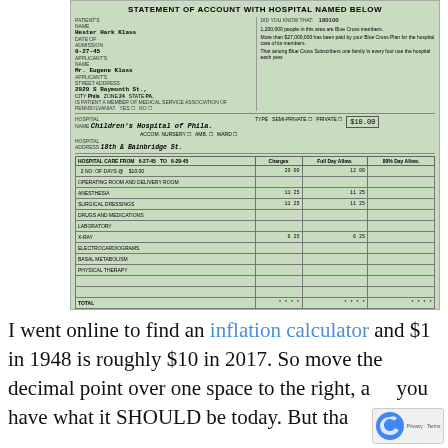[Figure (photo): Scanned hospital statement of account form on green paper. Title reads 'STATEMENT OF ACCOUNT WITH HOSPITAL NAMED BELOW'. Fields include Patient's Name (Hester Hark Klass), Date of Admission (6-27-45), Applicant's Name (Mr. Eugene Klass), Applicant's Street Address (2929 S Raymonth St.), City (Phila), Zone (24), State (PA). Right side has Blue Cross promotional text: 1,200,000 people in this area are Blue Cross members; More than $27,000,000 has been paid by your Blue Cross Plan for the hospital care of its members; That among Blue Cross Subscribers one family in every four use the hospital each year. Hospital Name: Children's Hospital of Phila. Hospital Address: 18th & Bainbridge St. Charges table includes: 2 No. of Days @ $10.00 = 20.00 Charges / 12.00 Full Day Allow; Operating Room and Delivery Room; Anesthesia: 11.25 / 11.25; Surgical Dressings: 11.25 / 11.25; Drugs and Medications; Laboratory; X-Ray: 6.25 / 6.25; Electrocardiograms; Basal Metabolism; Physical Therapy. Totals, Blue Cross Allowance, and Balance rows at bottom.]
I went online to find an inflation calculator and $1 in 1948 is roughly $10 in 2017. So move the decimal point over one space to the right, and you have what it SHOULD be today. But that's